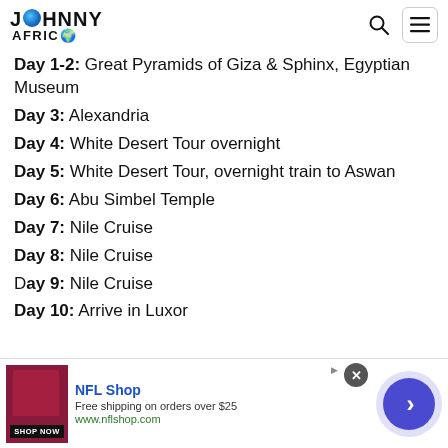JOHNNY AFRICA navigation bar
Day 1-2: Great Pyramids of Giza & Sphinx, Egyptian Museum
Day 3: Alexandria
Day 4: White Desert Tour overnight
Day 5: White Desert Tour, overnight train to Aswan
Day 6: Abu Simbel Temple
Day 7: Nile Cruise
Day 8: Nile Cruise
Day 9: Nile Cruise
Day 10: Arrive in Luxor
[Figure (screenshot): NFL Shop advertisement banner at bottom of page]